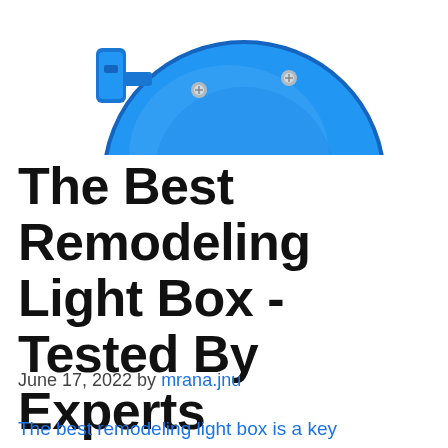[Figure (photo): Blue circular remodeling light box device photographed from above on white background, showing metal screws and a handle/bracket on the side]
The Best Remodeling Light Box -Tested By Experts
June 17, 2022 by mrana.jnu
The best remodeling light box is a key